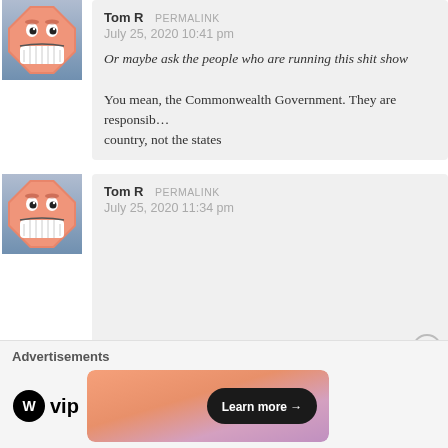[Figure (illustration): Cartoon avatar: smiling stop-sign shaped face character on blue-grey gradient background]
Tom R PERMALINK
July 25, 2020 10:41 pm

Or maybe ask the people who are running this shit show

You mean, the Commonwealth Government. They are responsible for borders in this country, not the states
[Figure (illustration): Cartoon avatar: smiling stop-sign shaped face character on blue-grey gradient background]
Tom R PERMALINK
July 25, 2020 11:34 pm
Advertisements
[Figure (logo): WordPress VIP logo with circle W icon and 'vip' text]
[Figure (illustration): Ad banner with gradient background and Learn more button]